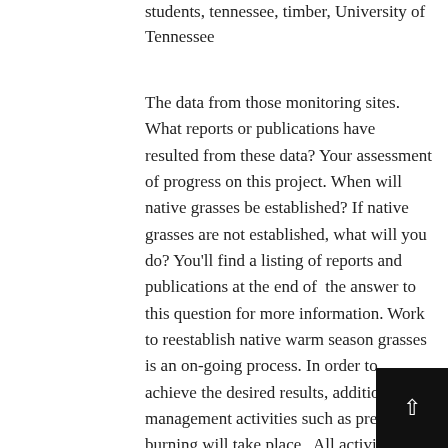students, tennessee, timber, University of Tennessee
The data from those monitoring sites. What reports or publications have resulted from these data? Your assessment of progress on this project. When will native grasses be established? If native grasses are not established, what will you do? You'll find a listing of reports and publications at the end of the answer to this question for more information. Work to reestablish native warm season grasses is an on-going process. In order to achieve the desired results, additional management activities such as prescribed burning will take place.  All activities will be monitored for success. Monitoring data Dr. Patrick Keyser an Associate...